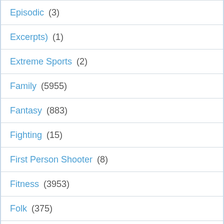Episodic (3)
Excerpts) (1)
Extreme Sports (2)
Family (5955)
Fantasy (883)
Fighting (15)
First Person Shooter (8)
Fitness (3953)
Folk (375)
Foreign (6028)
Game (23)
Game Guides (61)
Gospel (165)
Hack and Slash (5)
Horror (12241)
Indie Exclusive (31)